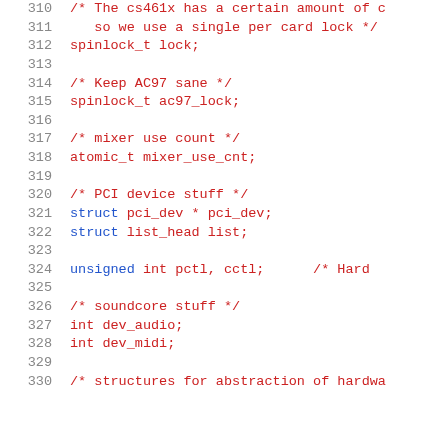Code listing lines 310-330, C source code showing spinlock, AC97, mixer, PCI, soundcore struct members